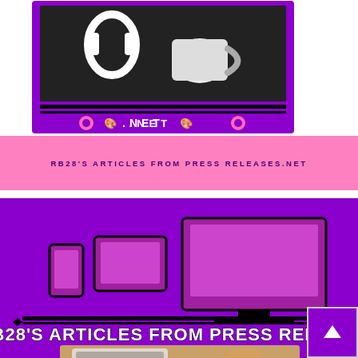[Figure (illustration): Purple framed image of headphones and coffee cup with .NET branding and palette icons at the bottom]
RB28'S ARTICLES FROM PRESS RELEASES.NET
[Figure (illustration): Purple background image showing device screens (phone, tablet, monitor) with text 'RB28'S ARTICLES FROM PRESS RELEASES' and a photo of hands using a tablet with coffee and croissant]